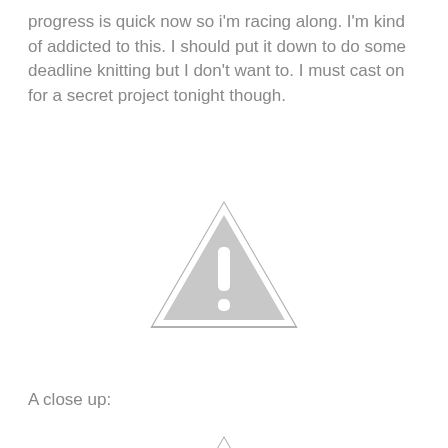progress is quick now so i'm racing along. I'm kind of addicted to this. I should put it down to do some deadline knitting but I don't want to. I must cast on for a secret project tonight though.
[Figure (illustration): A grey warning/caution triangle icon with an exclamation mark, centered on the page.]
A close up:
[Figure (illustration): A grey warning/caution triangle icon with an exclamation mark, larger close-up version, centered on the page.]